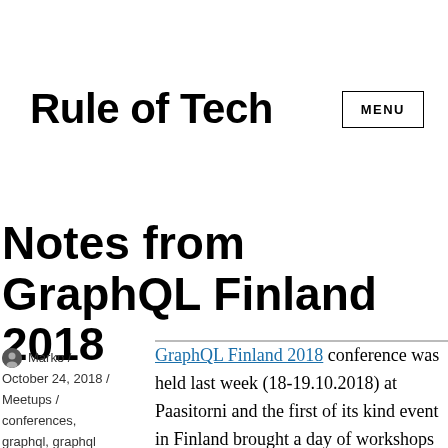Rule of Tech
Notes from GraphQL Finland 2018
Marko / October 24, 2018 / Meetups / conferences, graphql, graphql finland
GraphQL Finland 2018 conference was held last week (18-19.10.2018) at Paasitorni and the first of its kind event in Finland brought a day of workshops